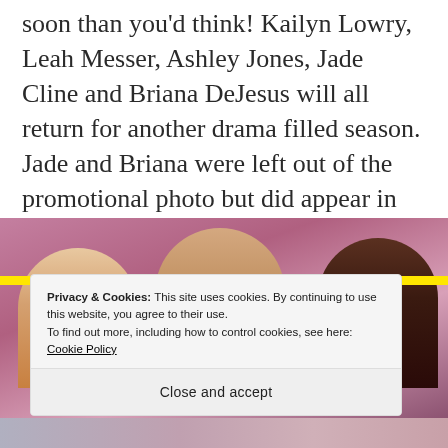soon than you'd think! Kailyn Lowry, Leah Messer, Ashley Jones, Jade Cline and Briana DeJesus will all return for another drama filled season. Jade and Briana were left out of the promotional photo but did appear in the new promo video.
[Figure (photo): Promotional photo showing three women (Teen Mom cast members) against a pink background, with a yellow horizontal bar across the image.]
Privacy & Cookies: This site uses cookies. By continuing to use this website, you agree to their use.
To find out more, including how to control cookies, see here: Cookie Policy
Close and accept